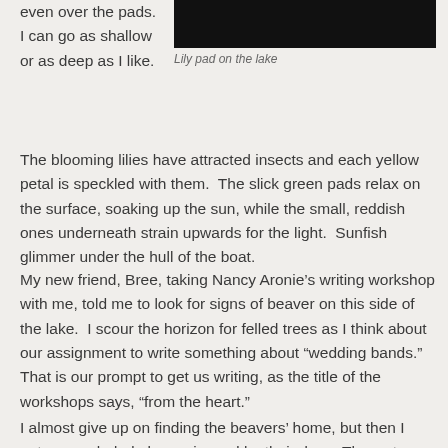even over the pads.  I can go as shallow or as deep as I like.
[Figure (photo): Dark photograph of a lily pad on a lake, mostly black/dark tones]
Lily pad on the lake
The blooming lilies have attracted insects and each yellow petal is speckled with them.  The slick green pads relax on the surface, soaking up the sun, while the small, reddish ones underneath strain upwards for the light.  Sunfish glimmer under the hull of the boat.
My new friend, Bree, taking Nancy Aronie’s writing workshop with me, told me to look for signs of beaver on this side of the lake.  I scour the horizon for felled trees as I think about our assignment to write something about “wedding bands.”  That is our prompt to get us writing, as the title of the workshops says, “from the heart.”
I almost give up on finding the beavers’ home, but then I enter a secluded alcove rimmed by their dam.  The water